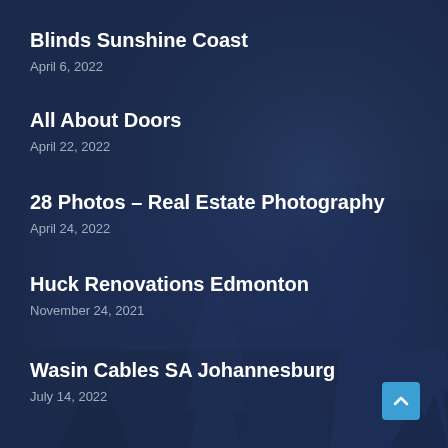[Figure (illustration): Dark navy blue background with silhouette of evergreen pine trees in a foggy forest scene]
Blinds Sunshine Coast
April 6, 2022
All About Doors
April 22, 2022
28 Photos – Real Estate Photography
April 24, 2022
Huck Renovations Edmonton
November 24, 2021
Wasin Cables SA Johannesburg
July 14, 2022